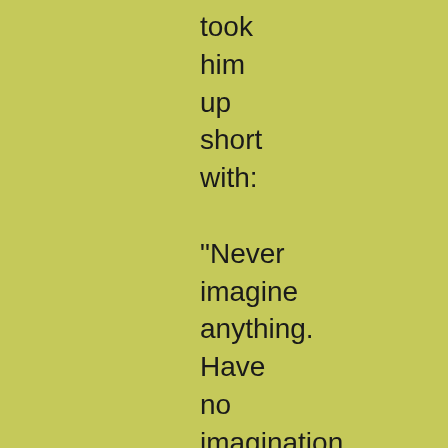took him up short with:

"Never imagine anything. Have no imagination at all."

"I stand corrected; do you